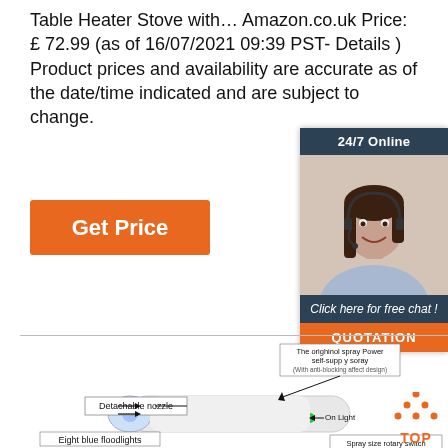Table Heater Stove with… Amazon.co.uk Price: £ 72.99 (as of 16/07/2021 09:39 PST- Details ) Product prices and availability are accurate as of the date/time indicated and are subject to change.
[Figure (other): Orange 'Get Price' button]
[Figure (infographic): 24/7 Online chat widget with photo of customer service representative, 'Click here for free chat!' text, and orange QUOTATION button]
[Figure (engineering-diagram): Labeled diagram of a handheld spray device showing: Detachable nozzle, The orighinol spray Power self-supp y soray (With anti-blocking affect design), On Light, Eight blue floodlights, Spray size rotary switch. Includes a TOP logo in the bottom right corner.]